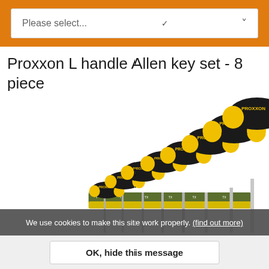[Figure (screenshot): Orange banner with a white dropdown select box labeled 'Please select...' with a chevron arrow on the right]
Proxxon L handle Allen key set - 8 piece
[Figure (photo): Proxxon L handle Allen key set with 8 T-handle torx screwdrivers mounted in a yellow and green stand, arranged in ascending size order from left to right]
We use cookies to make this site work properly. (find out more)
OK, hide this message